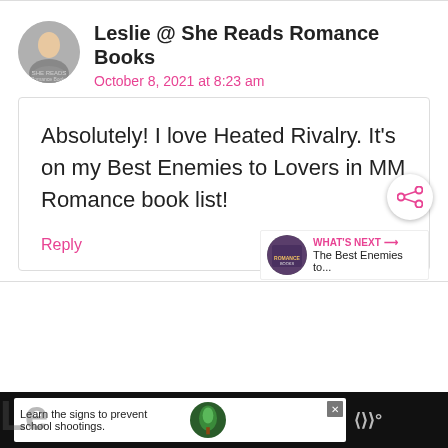Leslie @ She Reads Romance Books
October 8, 2021 at 8:23 am
Absolutely! I love Heated Rivalry. It's on my Best Enemies to Lovers in MM Romance book list!
Reply
WHAT'S NEXT → The Best Enemies to...
Learn the signs to prevent school shootings.